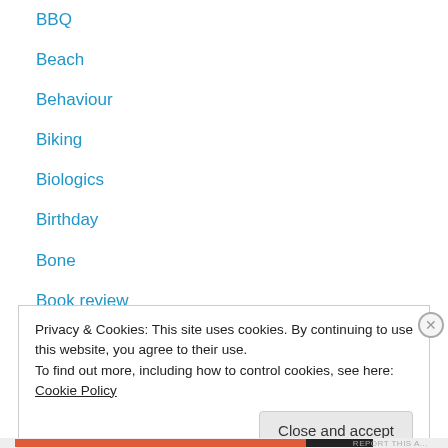BBQ
Beach
Behaviour
Biking
Biologics
Birthday
Bone
Book review
Books
British Columbia, Canada
Camping
Cardmaking
Cats
Privacy & Cookies: This site uses cookies. By continuing to use this website, you agree to their use.
To find out more, including how to control cookies, see here: Cookie Policy